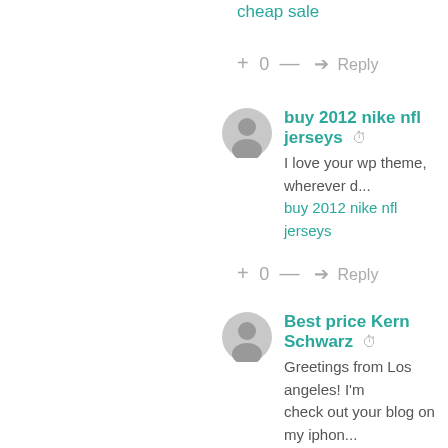cheap sale
+ 0 — ➜ Reply
[Figure (photo): User avatar icon - gray circle with person silhouette]
buy 2012 nike nfl jerseys
I love your wp theme, wherever d... buy 2012 nike nfl jerseys
+ 0 — ➜ Reply
[Figure (photo): User avatar icon - gray circle with person silhouette]
Best price Kern Schwarz
Greetings from Los angeles! I'm... check out your blog on my iphon... knowledge you provide here and... I'm shocked at how quick your bl... using WIFI, just 3G .. Anyhow, fa...